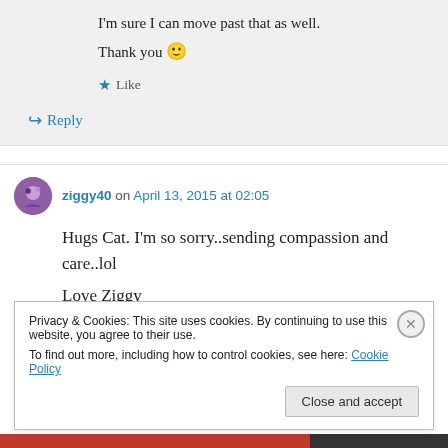I'm sure I can move past that as well.
Thank you 🙂
★ Like
↳ Reply
ziggy40 on April 13, 2015 at 02:05
Hugs Cat. I'm so sorry..sending compassion and care..lol
Love Ziggy
Privacy & Cookies: This site uses cookies. By continuing to use this website, you agree to their use.
To find out more, including how to control cookies, see here: Cookie Policy
Close and accept